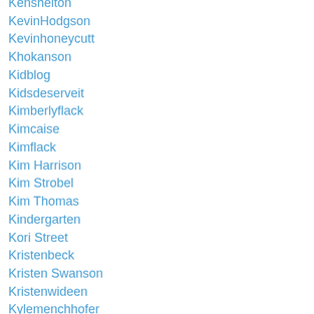Kenshelton
KevinHodgson
Kevinhoneycutt
Khokanson
Kidblog
Kidsdeserveit
Kimberlyflack
Kimcaise
Kimflack
Kim Harrison
Kim Strobel
Kim Thomas
Kindergarten
Kori Street
Kristenbeck
Kristen Swanson
Kristenwideen
Kylemenchhofer
Kyle Pace
Kyle Pearce